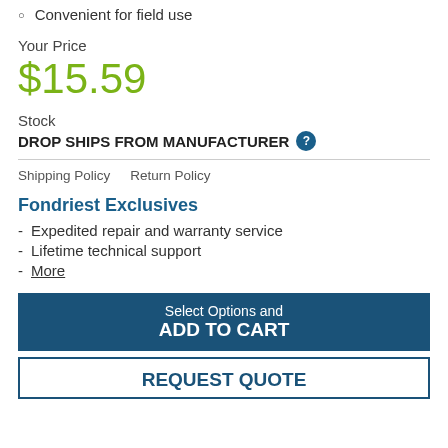Convenient for field use
Your Price
$15.59
Stock
DROP SHIPS FROM MANUFACTURER
Shipping Policy    Return Policy
Fondriest Exclusives
Expedited repair and warranty service
Lifetime technical support
More
Select Options and ADD TO CART
REQUEST QUOTE